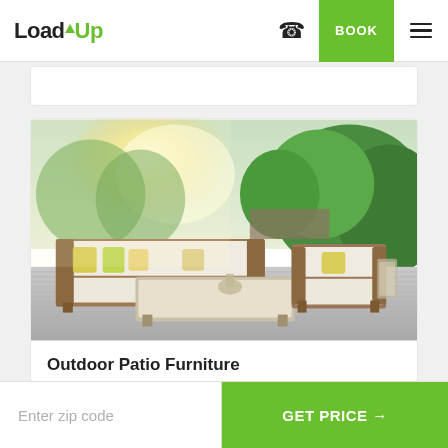LoadUp — BOOK
[Figure (photo): Outdoor patio furniture set on a deck: white cushion sofa with yellow/green throw pillows, matching armchair, rectangular white ottoman/coffee table, surrounded by lush green hedges and warm sunlight]
Outdoor Patio Furniture
Enter zip code
GET PRICE →